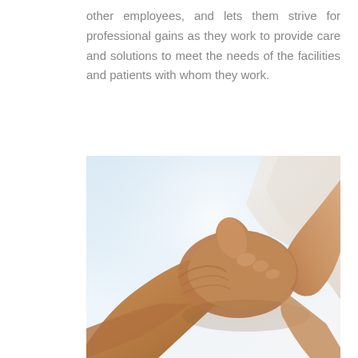other employees, and lets them strive for professional gains as they work to provide care and solutions to meet the needs of the facilities and patients with whom they work.
[Figure (photo): Close-up photograph of two people shaking hands, depicting a professional partnership or agreement. One person appears to be wearing a white shirt. The background is soft blue and white (blurred/bokeh).]